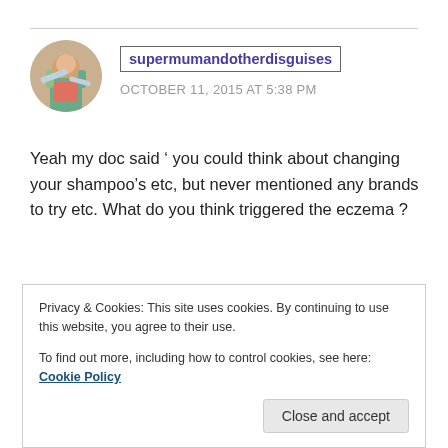supermumandotherdisguises
OCTOBER 11, 2015 AT 5:38 PM
Yeah my doc said ‘ you could think about changing your shampoo’s etc, but never mentioned any brands to try etc. What do you think triggered the eczema ?
Like
Privacy & Cookies: This site uses cookies. By continuing to use this website, you agree to their use.
To find out more, including how to control cookies, see here: Cookie Policy
Close and accept